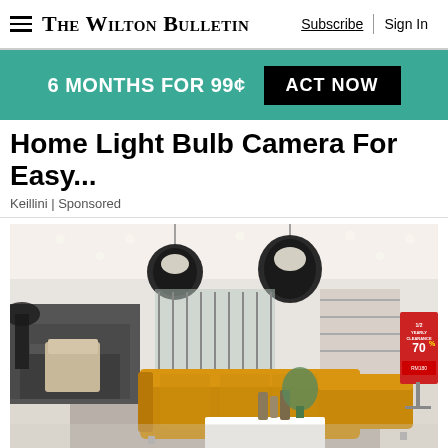The Wilton Bulletin | Subscribe | Sign In
6 MONTHS FOR 99¢  ACT NOW
Home Light Bulb Camera For Easy...
Keillini | Sponsored
[Figure (photo): Interior of a furniture showroom with a large yellow/mustard sectional sofa, white coffee table, pendant lights, and various furniture displays. A red clearance sign reading '1/2 Yearly Clearance 70%' is visible on the right side.]